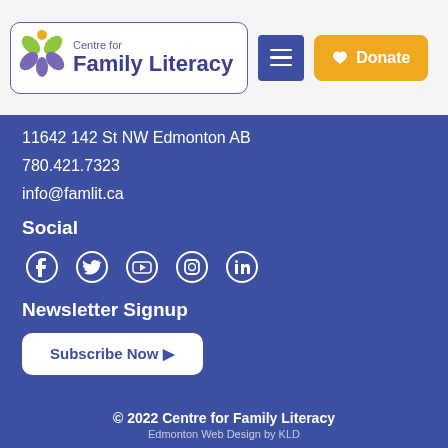[Figure (logo): Centre for Family Literacy logo with flower/leaf icon]
11642 142 St NW Edmonton AB
780.421.7323
info@famlit.ca
Social
[Figure (illustration): Social media icons: Facebook, Twitter, YouTube, Instagram, LinkedIn]
Newsletter Signup
Subscribe Now ▶
© 2022 Centre for Family Literacy
Edmonton Web Design by KLD